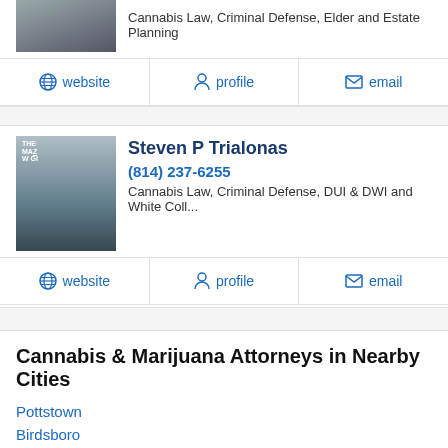Cannabis Law, Criminal Defense, Elder and Estate Planning
website   profile   email
Steven P Trialonas
(814) 237-6255
Cannabis Law, Criminal Defense, DUI & DWI and White Coll...
website   profile   email
Cannabis & Marijuana Attorneys in Nearby Cities
Pottstown
Birdsboro
Douglassville
Fleetwood